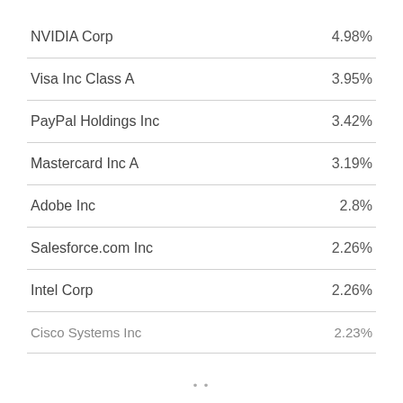|  |  |
| --- | --- |
| NVIDIA Corp | 4.98% |
| Visa Inc Class A | 3.95% |
| PayPal Holdings Inc | 3.42% |
| Mastercard Inc A | 3.19% |
| Adobe Inc | 2.8% |
| Salesforce.com Inc | 2.26% |
| Intel Corp | 2.26% |
| Cisco Systems Inc | 2.23% |